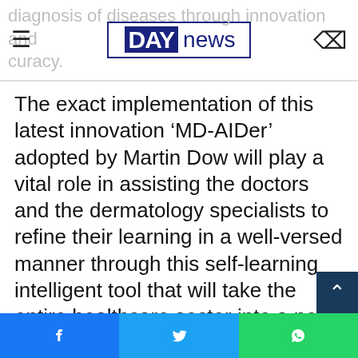DAY news
The exact implementation of this latest innovation ‘MD-AIDer’ adopted by Martin Dow will play a vital role in assisting the doctors and the dermatology specialists to refine their learning in a well-versed manner through this self-learning intelligent tool that will take the entire healthcare sector into a new era of success and transformation.
Fawad Abbasi, Director Business Unit at Martin Dow Ltd, while expressing his views on the achievement of this milestone said, “Being one of the topmost pharmaceutical company Martin Dow strongly believes that by